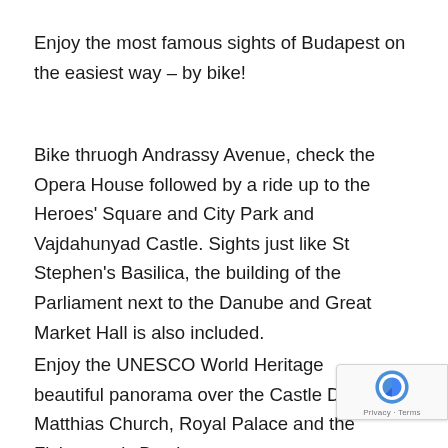Enjoy the most famous sights of Budapest on the easiest way – by bike!
Bike thruogh Andrassy Avenue, check the Opera House followed by a ride up to the Heroes' Square and City Park and Vajdahunyad Castle. Sights just like St Stephen's Basilica, the building of the Parliament next to the Danube and Great Market Hall is also included.
Enjoy the UNESCO World Heritage beautiful panorama over the Castle District: Matthias Church, Royal Palace and the Fisherman's Bastion.